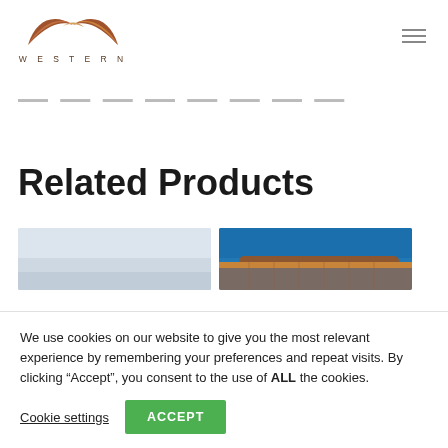[Figure (logo): Western company logo with stylized wing/swoosh mark in brown/copper tones above the word WESTERN in spaced lettering]
[Figure (illustration): Hamburger menu icon (three horizontal lines) in gray]
Related Products
[Figure (photo): Two product thumbnail photos side by side: left shows a light sky/building with pale blue-grey tones; right shows a curved metal roof structure against a blue sky]
We use cookies on our website to give you the most relevant experience by remembering your preferences and repeat visits. By clicking “Accept”, you consent to the use of ALL the cookies.
Cookie settings
ACCEPT